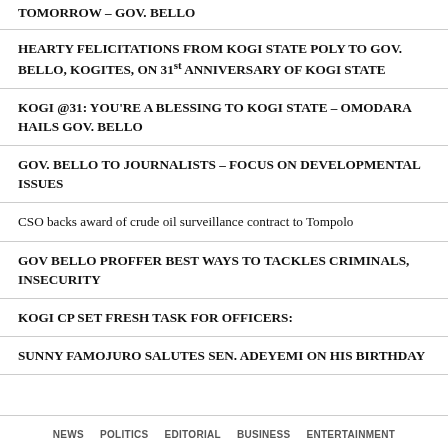TOMORROW – GOV. BELLO
HEARTY FELICITATIONS FROM KOGI STATE POLY TO GOV. BELLO, KOGITES, ON 31st ANNIVERSARY OF KOGI STATE
KOGI @31: YOU'RE A BLESSING TO KOGI STATE – OMODARA HAILS GOV. BELLO
GOV. BELLO TO JOURNALISTS – FOCUS ON DEVELOPMENTAL ISSUES
CSO backs award of crude oil surveillance contract to Tompolo
GOV BELLO PROFFER BEST WAYS TO TACKLES CRIMINALS, INSECURITY
KOGI CP SET FRESH TASK FOR OFFICERS:
SUNNY FAMOJURO SALUTES SEN. ADEYEMI ON HIS BIRTHDAY
NEWS   POLITICS   EDITORIAL   BUSINESS   ENTERTAINMENT